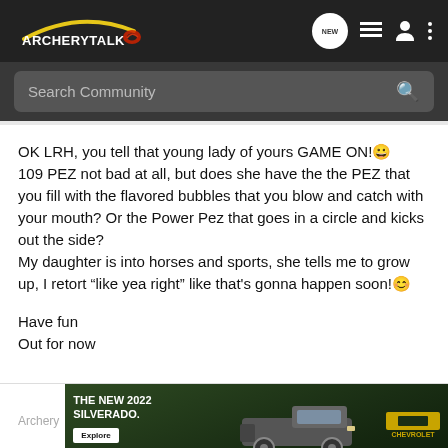ArcheryTalk
Search Community
OK LRH, you tell that young lady of yours GAME ON!😀 109 PEZ not bad at all, but does she have the the PEZ that you fill with the flavored bubbles that you blow and catch with your mouth? Or the Power Pez that goes in a circle and kicks out the side?
My daughter is into horses and sports, she tells me to grow up, I retort "like yea right" like that's gonna happen soon!😊

Have fun
Out for now
[Figure (screenshot): Advertisement banner for The New 2022 Silverado by Chevrolet with Explore button]